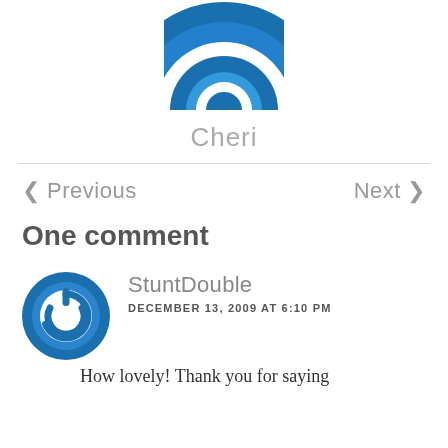[Figure (logo): Blue circular avatar/logo with target ring pattern, partially cropped at top]
Cheri
< Previous    Next >
One comment
[Figure (logo): Blue circular avatar with power button icon inside]
StuntDouble
DECEMBER 13, 2009 AT 6:10 PM
How lovely! Thank you for saying